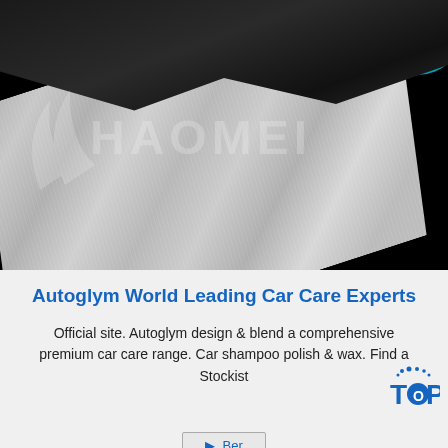[Figure (photo): Brushed metallic sheet with black plastic film peeling back from top, watermark text HAOMEI, teal/cyan circles in top right corner, black background]
Autoglym World Leading Car Care Experts
Official site. Autoglym design & blend a comprehensive premium car care range. Car shampoo polish & wax. Find a Stockist